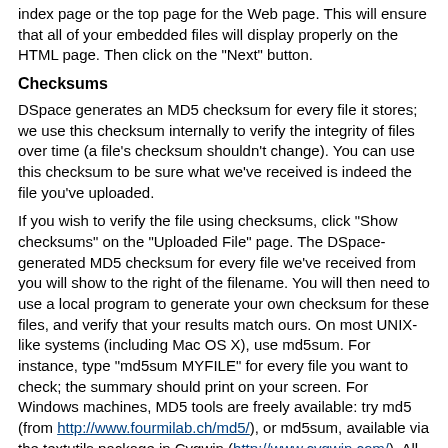index page or the top page for the Web page. This will ensure that all of your embedded files will display properly on the HTML page. Then click on the "Next" button.
Checksums
DSpace generates an MD5 checksum for every file it stores; we use this checksum internally to verify the integrity of files over time (a file's checksum shouldn't change). You can use this checksum to be sure what we've received is indeed the file you've uploaded.
If you wish to verify the file using checksums, click "Show checksums" on the "Uploaded File" page. The DSpace-generated MD5 checksum for every file we've received from you will show to the right of the filename. You will then need to use a local program to generate your own checksum for these files, and verify that your results match ours. On most UNIX-like systems (including Mac OS X), use md5sum. For instance, type "md5sum MYFILE" for every file you want to check; the summary should print on your screen. For Windows machines, MD5 tools are freely available: try md5 (from http://www.fourmilab.ch/md5/), or md5sum, available via the textutils package in Cygwin (http://www.cygwin.com/). All of these utilities will need to be run from a command-line, or terminal, window. The entire digest printed out when you run the md5 tool on your local copy of the file you're uploading should be exactly equal to what DSpace reports.
SUBMIT: Verify Submission
This page lets you review the information you have entered to describe the item. To correct or edit information, click on the corresponding